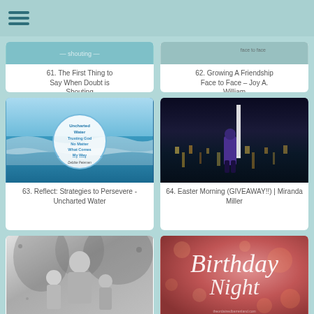Navigation menu
[Figure (screenshot): Card 1 top partially visible - teal image with text about doubt/shouting]
61. The First Thing to Say When Doubt is Shouting
[Figure (screenshot): Card 2 top partially visible - teal image]
62. Growing A Friendship Face to Face – Joy A. William
[Figure (photo): Book cover: Uncharted Water - Trusting God No Matter What Comes My Way by Debbie Petersen, ocean waves background with circular badge]
63. Reflect: Strategies to Persevere - Uncharted Water
[Figure (photo): Woman in purple coat standing outdoors at night with city lights reflecting on water behind her]
64. Easter Morning (GIVEAWAY!!) | Miranda Miller
[Figure (photo): Black and white photo of a woman with two children outdoors]
65. Financial Troubles?
[Figure (photo): Birthday Night - decorative card with script text on blurred bokeh background]
66. Birthday Night